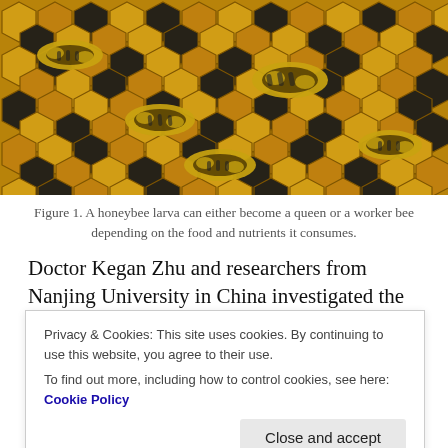[Figure (photo): Close-up photograph of honeybees on a honeycomb with hexagonal cells, some cells filled with honey (dark), bees visible on the golden comb surface.]
Figure 1. A honeybee larva can either become a queen or a worker bee depending on the food and nutrients it consumes.
Doctor Kegan Zhu and researchers from Nanjing University in China investigated the effects of plant microRNAs (miRNAs) on larval development and
Privacy & Cookies: This site uses cookies. By continuing to use this website, you agree to their use.
To find out more, including how to control cookies, see here: Cookie Policy
different sources affected larval development. They